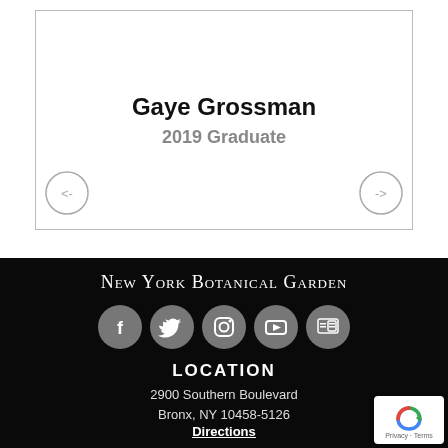Gaye Grossman
2019 Graduate
[Figure (other): Left navigation arrow button (circular outline with left arrow)]
[Figure (other): Right navigation arrow button (circular outline with right arrow)]
New York Botanical Garden
[Figure (other): Social media icons row: Facebook, Twitter, Instagram, YouTube, Newsletter]
LOCATION
2900 Southern Boulevard
Bronx, NY 10458-5126
Directions